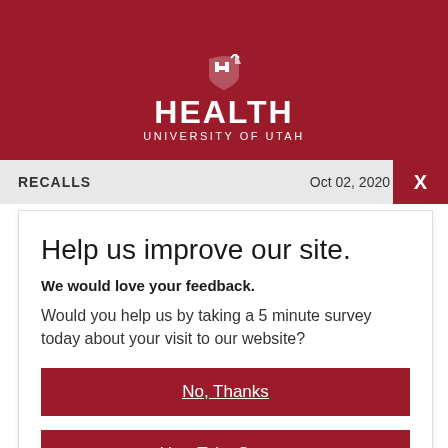[Figure (logo): University of Utah Health logo with shield icon and HEALTH text on red background]
RECALLS   Oct 02, 2020
Help us improve our site.
We would love your feedback.
Would you help us by taking a 5 minute survey today about your visit to our website?
No, Thanks
Yes, Take Survey